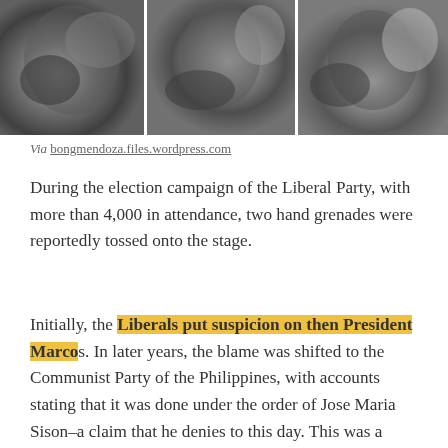[Figure (photo): Three black-and-white photographs showing scenes from a grenade attack at a Liberal Party campaign rally in the Philippines.]
Via bongmendoza.files.wordpress.com
During the election campaign of the Liberal Party, with more than 4,000 in attendance, two hand grenades were reportedly tossed onto the stage.
Initially, the Liberals put suspicion on then President Marcos. In later years, the blame was shifted to the Communist Party of the Philippines, with accounts stating that it was done under the order of Jose Maria Sison–a claim that he denies to this day. This was a stepping stone in the sequence of events that led to the declaration of Martial Law.